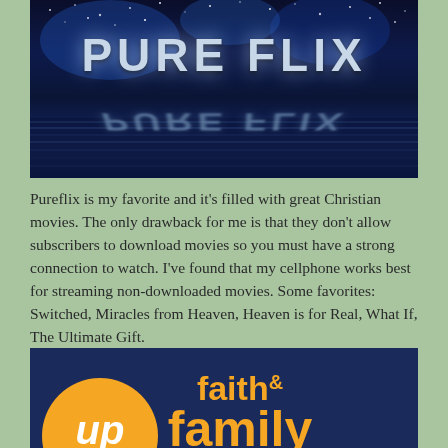[Figure (illustration): Pure Flix logo on dark blue starry background with reflection effect and water lines below the text]
Pureflix is my favorite and it's filled with great Christian movies. The only drawback for me is that they don't allow subscribers to download movies so you must have a strong connection to watch. I've found that my cellphone works best for streaming non-downloaded movies. Some favorites: Switched, Miracles from Heaven, Heaven is for Real, What If, The Ultimate Gift.
[Figure (logo): UP Faith & Family logo — orange circle with 'up' text on dark navy background, with 'faith & family' text in orange]